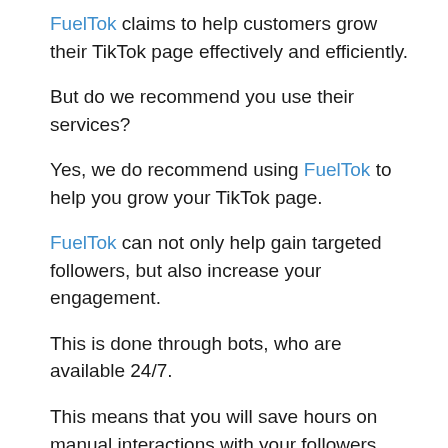FuelTok claims to help customers grow their TikTok page effectively and efficiently.
But do we recommend you use their services?
Yes, we do recommend using FuelTok to help you grow your TikTok page.
FuelTok can not only help gain targeted followers, but also increase your engagement.
This is done through bots, who are available 24/7.
This means that you will save hours on manual interactions with your followers, allowing you to focus your attention on creating high-quality content instead.